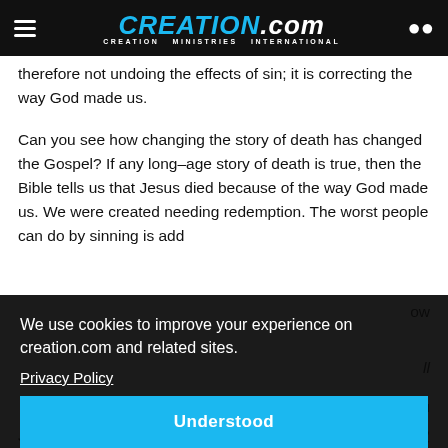CREATION.com — CREATION MINISTRIES INTERNATIONAL
therefore not undoing the effects of sin; it is correcting the way God made us.
Can you see how changing the story of death has changed the Gospel? If any long–age story of death is true, then the Bible tells us that Jesus died because of the way God made us. We were created needing redemption. The worst people can do by sinning is add
We use cookies to improve your experience on creation.com and related sites.
Privacy Policy
Understood
Jesus died because of our sins plus because of what